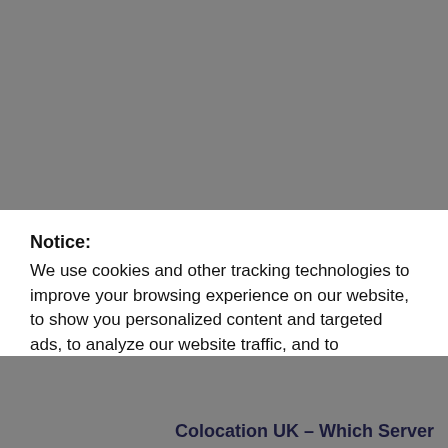[Figure (screenshot): Top gray banner area (website screenshot background)]
Notice:
We use cookies and other tracking technologies to improve your browsing experience on our website, to show you personalized content and targeted ads, to analyze our website traffic, and to understand where our visitors are coming from.
Accept
Customize
[Figure (screenshot): Bottom gray banner area (website screenshot background)]
Colocation UK – Which Server